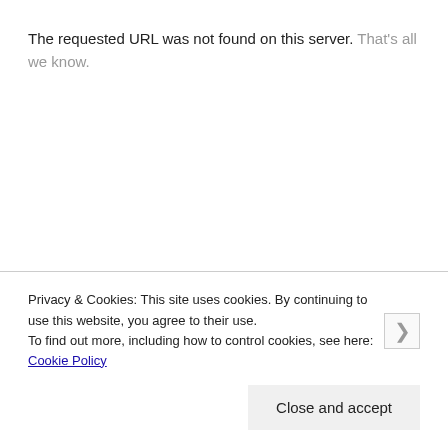The requested URL was not found on this server. That's all we know.
Privacy & Cookies: This site uses cookies. By continuing to use this website, you agree to their use.
To find out more, including how to control cookies, see here: Cookie Policy
Close and accept